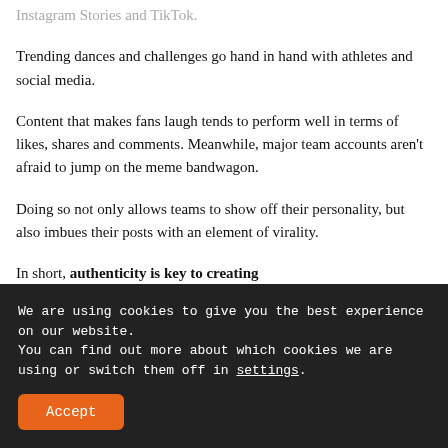Instagram Stories and TikTok.
Trending dances and challenges go hand in hand with athletes and social media.
Content that makes fans laugh tends to perform well in terms of likes, shares and comments. Meanwhile, major team accounts aren't afraid to jump on the meme bandwagon.
Doing so not only allows teams to show off their personality, but also imbues their posts with an element of virality.
In short, authenticity is key to creating
We are using cookies to give you the best experience on our website.
You can find out more about which cookies we are using or switch them off in settings.
Accept